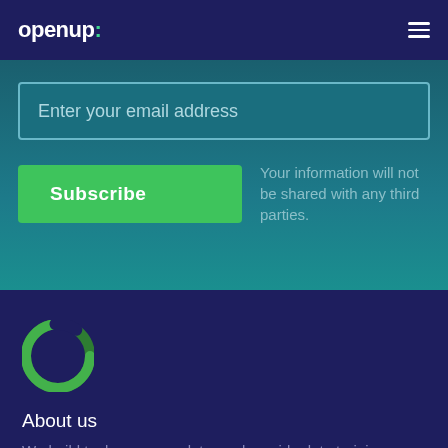openup:
Enter your email address
Subscribe
Your information will not be shared with any third parties.
[Figure (logo): OpenUp circular logo mark — green ring/circle with white gap, on dark navy background]
About us
We build tools, open up data, and provide data training which supports an active citizenry and helps